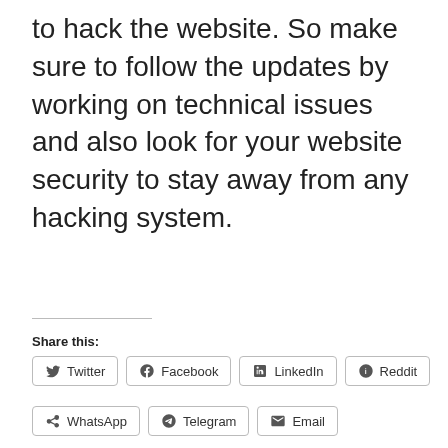to hack the website. So make sure to follow the updates by working on technical issues and also look for your website security to stay away from any hacking system.
Share this:
Twitter  Facebook  LinkedIn  Reddit  WhatsApp  Telegram  Email
Tagged in :  WEBSITE COSTING
Priya Kumari :
Priya is a writer for TechGnext, joining